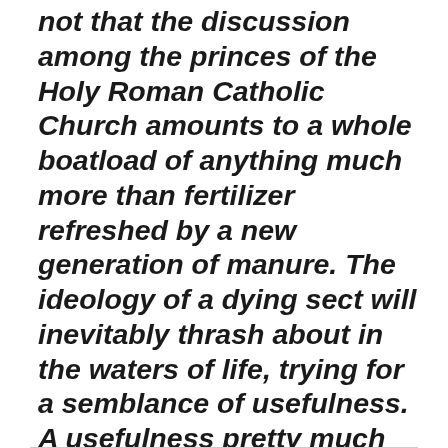not that the discussion among the princes of the Holy Roman Catholic Church amounts to a whole boatload of anything much more than fertilizer refreshed by a new generation of manure. The ideology of a dying sect will inevitably thrash about in the waters of life, trying for a semblance of usefulness. A usefulness pretty much limited to solace in the presence of death to a species conscious of life.